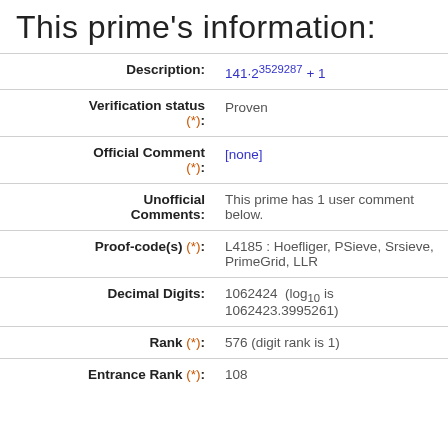This prime's information:
| Field | Value |
| --- | --- |
| Description: | 141·2^3529287 + 1 |
| Verification status (*): | Proven |
| Official Comment (*): | [none] |
| Unofficial Comments: | This prime has 1 user comment below. |
| Proof-code(s) (*): | L4185 : Hoefliger, PSieve, Srsieve, PrimeGrid, LLR |
| Decimal Digits: | 1062424  (log10 is 1062423.3995261) |
| Rank (*): | 576 (digit rank is 1) |
| Entrance Rank (*): | 108 |